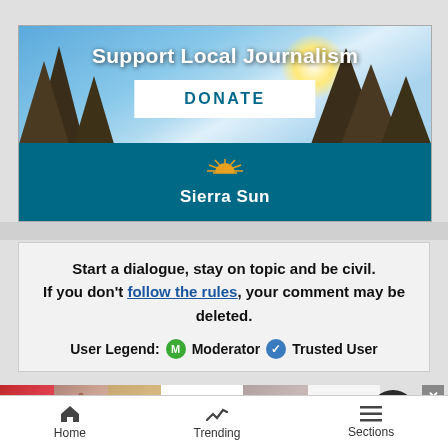[Figure (screenshot): Sierra Sun newspaper donation banner ad showing 'Support Local Journalism' with sky/trees background and a DONATE button, plus the Sierra Sun logo on teal background]
Start a dialogue, stay on topic and be civil. If you don't follow the rules, your comment may be deleted.
User Legend: M Moderator  ✓ Trusted User
[Figure (photo): Ulta Beauty advertisement strip showing beauty/makeup images with SHOP NOW]
Home  Trending  Sections